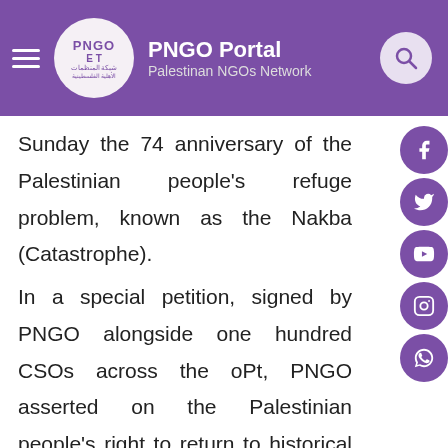PNGO Portal — Palestinan NGOs Network
Sunday the 74 anniversary of the Palestinian people's refuge problem, known as the Nakba (Catastrophe).
In a special petition, signed by PNGO alongside one hundred CSOs across the oPt, PNGO asserted on the Palestinian people's right to return to historical towns and villages in Palestine, based on United Nations General Assembly resolution, 194, dated